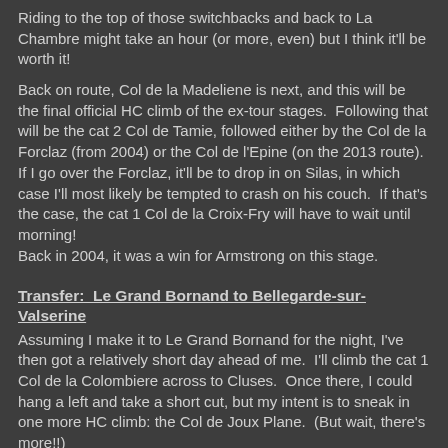Riding to the top of those switchbacks and back to La Chambre might take an hour (or more, even) but I think it'll be worth it!
Back on route, Col de la Madeliene is next, and this will be the final official HC climb of the ex-tour stages.  Following that will be the cat 2 Col de Tamie, followed either by the Col de la Forclaz (from 2004) or the Col de l'Epine (on the 2013 route).  If I go over the Forclaz, it'll be to drop in on Silas, in which case I'll most likely be tempted to crash on his couch.  If that's the case, the cat 1 Col de la Croix-Fry will have to wait until morning!
Back in 2004, it was a win for Armstrong on this stage.
Transfer:  Le Grand Bornand to Bellegarde-sur-Valserine
Assuming I make it to Le Grand Bornand for the night, I've then got a relatively short day ahead of me.  I'll climb the cat 1 Col de la Colombiere across to Cluses.  Once there, I could hang a left and take a short cut, but my intent is to sneak in one more HC climb: the Col de Joux Plane.  (But wait, there's more!!)